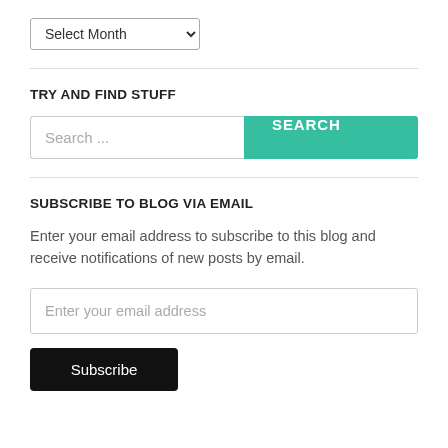Select Month
TRY AND FIND STUFF
Search ...
SEARCH
SUBSCRIBE TO BLOG VIA EMAIL
Enter your email address to subscribe to this blog and receive notifications of new posts by email.
Enter your email address
Subscribe